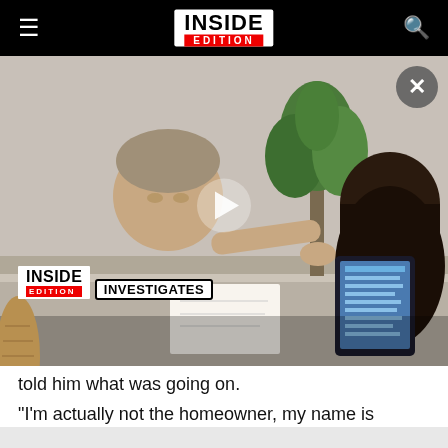Inside Edition - Navigation bar with hamburger menu, Inside Edition logo, and search icon
[Figure (screenshot): Video still from Inside Edition Investigates segment showing a middle-aged man in a gray t-shirt gesturing across a table toward a woman with dark hair holding a tablet. A play button overlay is centered on the image. An Inside Edition Investigates logo badge is in the lower-left corner. A close (X) button appears in the upper-right corner.]
told him what was going on.
"I'm actually not the homeowner, my name is